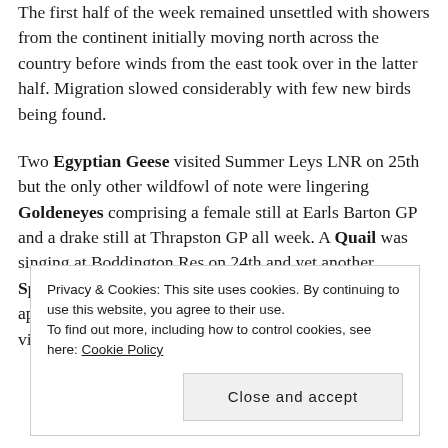The first half of the week remained unsettled with showers from the continent initially moving north across the country before winds from the east took over in the latter half. Migration slowed considerably with few new birds being found.

Two Egyptian Geese visited Summer Leys LNR on 25th but the only other wildfowl of note were lingering Goldeneyes comprising a female still at Earls Barton GP and a drake still at Thrapston GP all week. A Quail was singing at Boddington Res on 24th and yet another Spoonbill – this time a second-summer – put in a brief appearance at Summer Leys on 29th. This is the third to visit this site this spring, being readily distinguished
Privacy & Cookies: This site uses cookies. By continuing to use this website, you agree to their use.
To find out more, including how to control cookies, see here: Cookie Policy